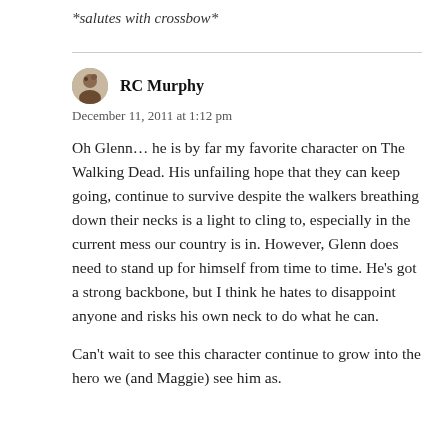*salutes with crossbow*
RC Murphy
December 11, 2011 at 1:12 pm
Oh Glenn… he is by far my favorite character on The Walking Dead. His unfailing hope that they can keep going, continue to survive despite the walkers breathing down their necks is a light to cling to, especially in the current mess our country is in. However, Glenn does need to stand up for himself from time to time. He’s got a strong backbone, but I think he hates to disappoint anyone and risks his own neck to do what he can.
Can’t wait to see this character continue to grow into the hero we (and Maggie) see him as.